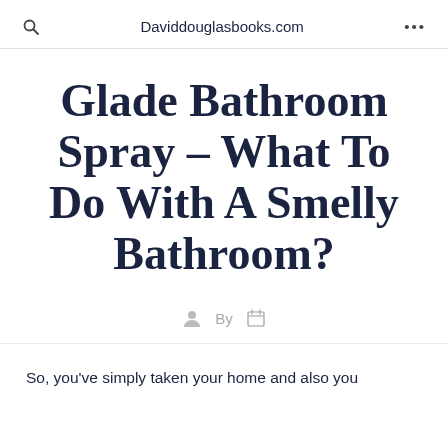Q  Daviddouglasbooks.com  ...
Glade Bathroom Spray – What To Do With A Smelly Bathroom?
By
So, you've simply taken your home and also you